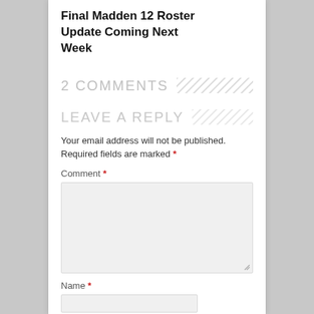Final Madden 12 Roster Update Coming Next Week
2 COMMENTS
LEAVE A REPLY
Your email address will not be published. Required fields are marked *
Comment *
Name *
Email *